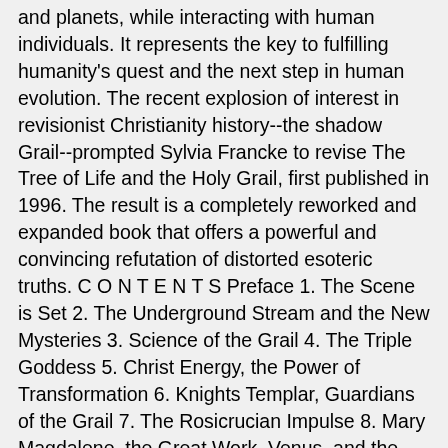and planets, while interacting with human individuals. It represents the key to fulfilling humanity's quest and the next step in human evolution. The recent explosion of interest in revisionist Christianity history--the shadow Grail--prompted Sylvia Francke to revise The Tree of Life and the Holy Grail, first published in 1996. The result is a completely reworked and expanded book that offers a powerful and convincing refutation of distorted esoteric truths. C O N T E N T S Preface 1. The Scene is Set 2. The Underground Stream and the New Mysteries 3. Science of the Grail 4. The Triple Goddess 5. Christ Energy, the Power of Transformation 6. Knights Templar, Guardians of the Grail 7. The Rosicrucian Impulse 8. Mary Magdalene, the Great Work, Venus, and the Pentagram 9. Opposing Forces and the Double 10. Saunière's Secret and the Priory of Sion, part one --The Philosopher's Stone and Knowing the Pentagram 11. Saunière's Secret and the Priory of Sion, part two --A Kind of Ahrimanic Immortality 12. Opposition to the grail and Its Influence in the Modern World 13. Rosslyn Chapel: The Tree of Life and the Holy Grail 14. Waters of the Moon 15. The Chalice and the Blade 16. Healing the Grail King Appendices: 1. Mani's Teachings 2. The Aristotelianism 3. The Spiritual Hierarchy 4.